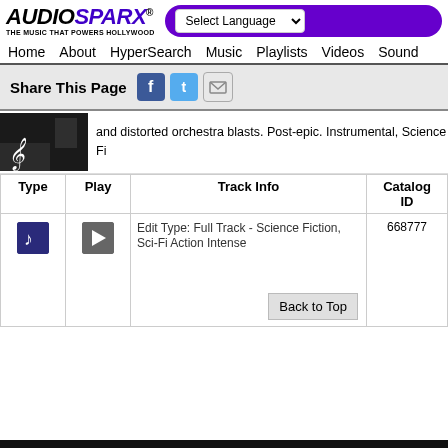AUDIOSPARX THE MUSIC THAT POWERS HOLLYWOOD
Select Language | Home | About | HyperSearch | Music | Playlists | Videos | Sound
Share This Page
and distorted orchestra blasts. Post-epic. Instrumental, Science Fi
| Type | Play | Track Info | Catalog ID |
| --- | --- | --- | --- |
| [music icon] | [play icon] | Edit Type: Full Track - Science Fiction, Sci-Fi Action Intense | 668777 |
Back to Top